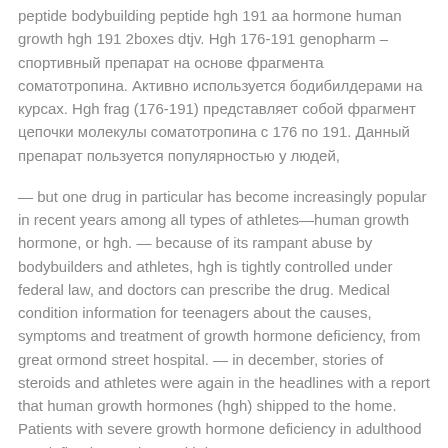peptide bodybuilding peptide hgh 191 aa hormone human growth hgh 191 2boxes dtjv. Hgh 176-191 genopharm – спортивный препарат на основе фрагмента соматотропина. Активно используется бодибилдерами на курсах. Hgh frag (176-191) представляет собой фрагмент цепочки молекулы соматотропина с 176 по 191. Данный препарат пользуется популярностью у людей,
— but one drug in particular has become increasingly popular in recent years among all types of athletes—human growth hormone, or hgh. — because of its rampant abuse by bodybuilders and athletes, hgh is tightly controlled under federal law, and doctors can prescribe the drug. Medical condition information for teenagers about the causes, symptoms and treatment of growth hormone deficiency, from great ormond street hospital. — in december, stories of steroids and athletes were again in the headlines with a report that human growth hormones (hgh) shipped to the home. Patients with severe growth hormone deficiency in adulthood are defined as patients with known